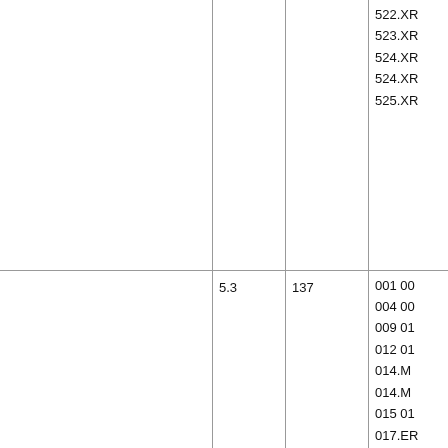|  |  |  |  |
| --- | --- | --- | --- |
|  |  |  | 522.XR
523.XR
524.XR
524.XR
525.XR |
|  | 5.3 | 137 | 001 00
004 00
009 01
012 01
014.M
014.M
015 01
017.ER
019 02
021.M
021.M
022 02
023.ER
025 01 |